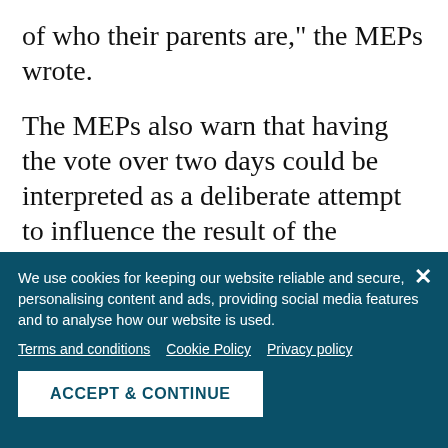of who their parents are," the MEPs wrote.
The MEPs also warn that having the vote over two days could be interpreted as a deliberate attempt to influence the result of the referendum by ensuring a participation rate of over 30 percent. Furthermore, they said, the fact that the authorities decided not to use the electronic vote monitoring system is also worrying, because it is seen as a step back and
We use cookies for keeping our website reliable and secure, personalising content and ads, providing social media features and to analyse how our website is used.
Terms and conditions   Cookie Policy   Privacy policy
ACCEPT & CONTINUE